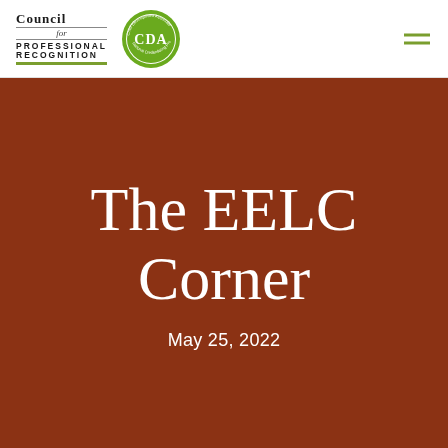[Figure (logo): Council for Professional Recognition logo with CDA (Child Development Associate) circular green badge and hamburger menu icon]
The EELC Corner
May 25, 2022